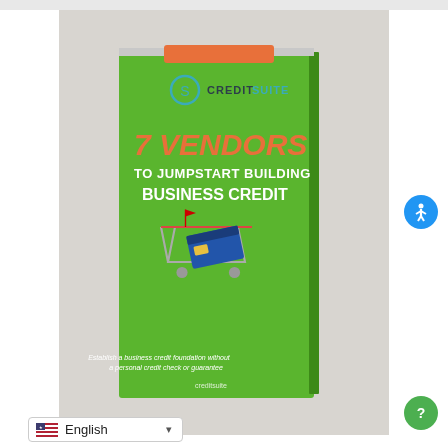[Figure (photo): A physical book titled '7 Vendors to Jumpstart Building Business Credit' by Credit Suite, displayed standing upright. The book has a green cover featuring large orange and white text and an image of a shopping cart with a credit card. The Credit Suite logo appears at the top of the image in teal/blue. The book bottom tagline reads: 'Establish a business credit foundation without a personal credit check or guarantee'.]
English